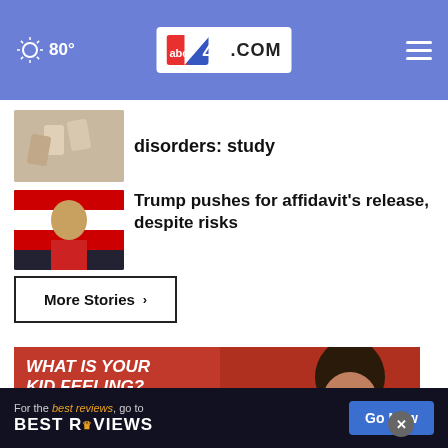80° abc4.com
disorders: study
Trump pushes for affidavit's release, despite risks
More Stories ›
[Figure (advertisement): Red advertisement banner reading WHAT IS YOUR KID FEELING? GET SONGS TO SOUND IT OUT with a girl covering her face]
[Figure (advertisement): BestReviews banner: For the best reviews, go to BESTREVIEWS with Go Now button]